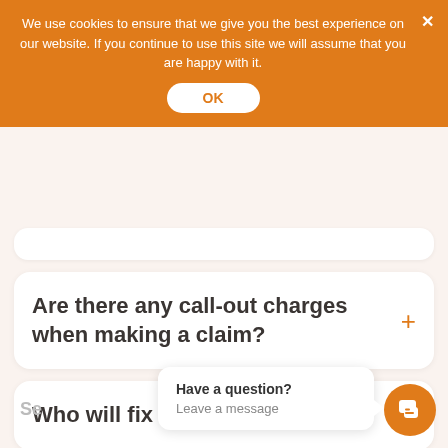We use cookies to ensure that we give you the best experience on our website. If you continue to use this site we will assume that you are happy with it.
OK
Are there any call-out charges when making a claim?
Who will fix my boiler?
Have a question?
Leave a message